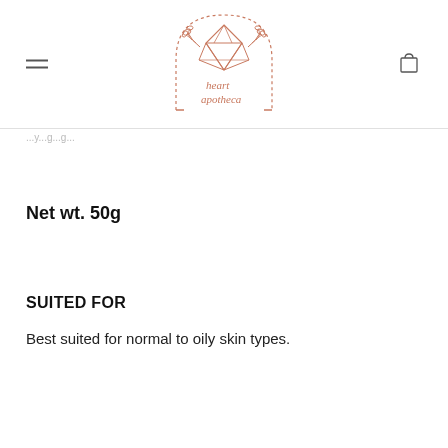[Figure (logo): Heart Apotheca logo — geometric crystal/diamond shape with botanical leaves inside a dotted arch, in terracotta/rose color, with text 'heart apotheca' below]
...y...g...g...
Net wt. 50g
SUITED FOR
Best suited for normal to oily skin types.